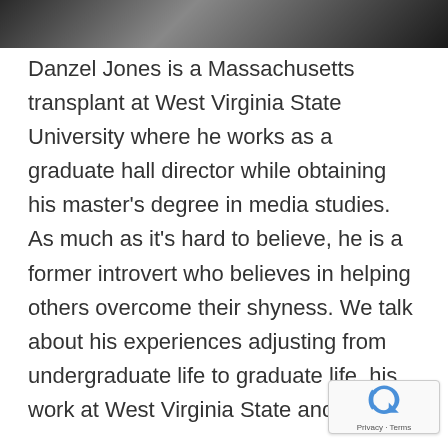[Figure (photo): Top portion of a person's photo, cropped — dark background showing head/shoulders area]
Danzel Jones is a Massachusetts transplant at West Virginia State University where he works as a graduate hall director while obtaining his master's degree in media studies. As much as it's hard to believe, he is a former introvert who believes in helping others overcome their shyness. We talk about his experiences adjusting from undergraduate life to graduate life, his work at West Virginia State and his